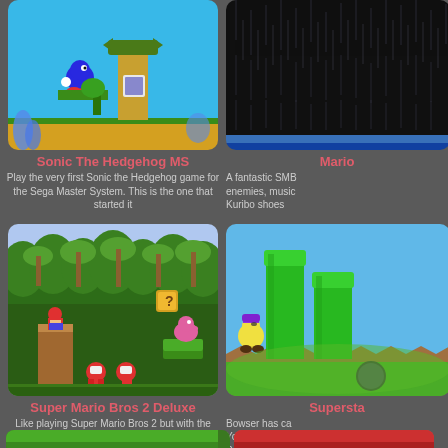[Figure (screenshot): Sonic The Hedgehog MS game screenshot showing Sonic on a platform with a totem pole]
Sonic The Hedgehog MS
Play the very first Sonic the Hedgehog game for the Sega Master System. This is the one that started it
[Figure (screenshot): Mario game screenshot showing dark background with rain-like patterns and colored bar at bottom]
Mario
A fantastic SMB enemies, music Kuribo shoes
[Figure (screenshot): Super Mario Bros 2 Deluxe screenshot showing Mario on a platform in a lush jungle with Shy Guys and a question block]
Super Mario Bros 2 Deluxe
Like playing Super Mario Bros 2 but with the mechanics of Super Mario. An interesting rom hack for sure.
[Figure (screenshot): Superstar game screenshot showing Wario character on a green hill with tall green pillars/tubes]
Supersta
Bowser has ca Yoshis along w Seven new